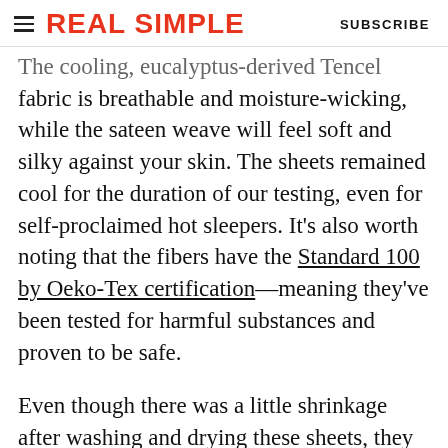REAL SIMPLE | SUBSCRIBE
The cooling, eucalyptus-derived Tencel fabric is breathable and moisture-wicking, while the sateen weave will feel soft and silky against your skin. The sheets remained cool for the duration of our testing, even for self-proclaimed hot sleepers. It's also worth noting that the fibers have the Standard 100 by Oeko-Tex certification—meaning they've been tested for harmful substances and proven to be safe.
Even though there was a little shrinkage after washing and drying these sheets, they were